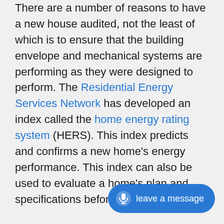There are a number of reasons to have a new house audited, not the least of which is to ensure that the building envelope and mechanical systems are performing as they were designed to perform. The Residential Energy Services Network has developed an index called the home energy rating system (HERS). This index predicts and confirms a new home's energy performance. This index can also be used to evaluate a home's plan and specifications before it's built.

There are four reasons to get a verified new home HERS rating: homeowners can qualify for an energy-efficient mortgage; a h... that the building efficiencies h... it's an excellent marketing tool; and it helps
[Figure (other): Blue rounded pill-shaped floating action button with microphone icon and text 'leave a message']